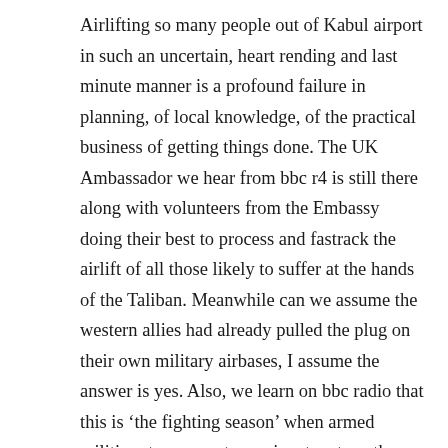Airlifting so many people out of Kabul airport in such an uncertain, heart rending and last minute manner is a profound failure in planning, of local knowledge, of the practical business of getting things done. The UK Ambassador we hear from bbc r4 is still there along with volunteers from the Embassy doing their best to process and fastrack the airlift of all those likely to suffer at the hands of the Taliban. Meanwhile can we assume the western allies had already pulled the plug on their own military airbases, I assume the answer is yes. Also, we learn on bbc radio that this is ‘the fighting season’ when armed militias etc are most prominent, yet another blunder of Intelligence and planning. Theresa May had good right to be scathing, I would think behind the scenes more so too.